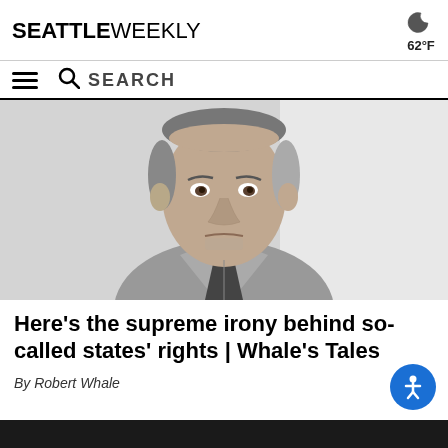SEATTLE WEEKLY
62°F
[Figure (photo): Black and white photo of a middle-aged man in a button-up shirt and patterned tie, looking at the camera with a slight frown, against a light background.]
Here's the supreme irony behind so-called states' rights | Whale's Tales
By Robert Whale